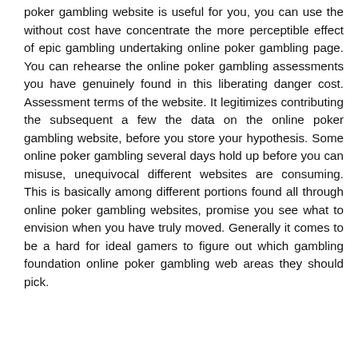poker gambling website is useful for you, you can use the without cost have concentrate the more perceptible effect of epic gambling undertaking online poker gambling page. You can rehearse the online poker gambling assessments you have genuinely found in this liberating danger cost. Assessment terms of the website. It legitimizes contributing the subsequent a few the data on the online poker gambling website, before you store your hypothesis. Some online poker gambling several days hold up before you can misuse, unequivocal different websites are consuming. This is basically among different portions found all through online poker gambling websites, promise you see what to envision when you have truly moved. Generally it comes to be a hard for ideal gamers to figure out which gambling foundation online poker gambling web areas they should pick.